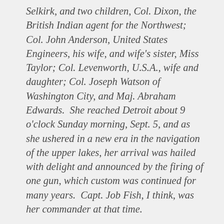Selkirk, and two children, Col. Dixon, the British Indian agent for the Northwest; Col. John Anderson, United States Engineers, his wife, and wife's sister, Miss Taylor; Col. Levenworth, U.S.A., wife and daughter; Col. Joseph Watson of Washington City, and Maj. Abraham Edwards. She reached Detroit about 9 o'clock Sunday morning, Sept. 5, and as she ushered in a new era in the navigation of the upper lakes, her arrival was hailed with delight and announced by the firing of one gun, which custom was continued for many years. Capt. Job Fish, I think, was her commander at that time.